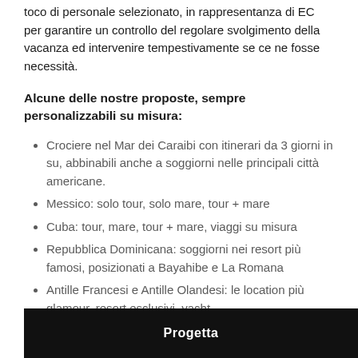toco di personale selezionato, in rappresentanza di EC per garantire un controllo del regolare svolgimento della vacanza ed intervenire tempestivamente se ce ne fosse necessità.
Alcune delle nostre proposte, sempre personalizzabili su misura:
Crociere nel Mar dei Caraibi con itinerari da 3 giorni in su, abbinabili anche a soggiorni nelle principali città americane.
Messico: solo tour, solo mare, tour + mare
Cuba: tour, mare, tour + mare, viaggi su misura
Repubblica Dominicana: soggiorni nei resort più famosi, posizionati a Bayahibe e La Romana
Antille Francesi e Antille Olandesi: le location più glamour, resort esclusivi, yacht
Giamaica: tour e soggiorni mare
Progetta